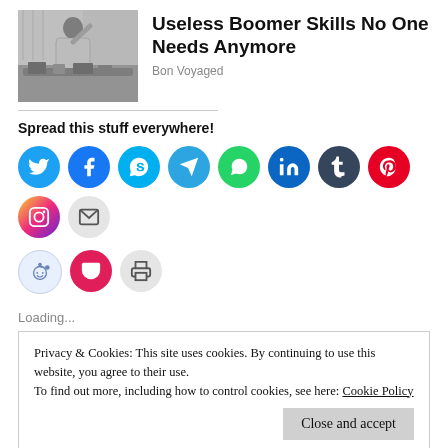[Figure (photo): Black and white vintage photo of a woman looking flustered in a kitchen]
Useless Boomer Skills No One Needs Anymore
Bon Voyaged
Spread this stuff everywhere!
[Figure (infographic): Social sharing buttons: Twitter, Facebook, Skype, Telegram, WhatsApp, LinkedIn, Tumblr, Pinterest, Instagram, Email, Reddit, Pocket, Print]
Loading...
Privacy & Cookies: This site uses cookies. By continuing to use this website, you agree to their use.
To find out more, including how to control cookies, see here: Cookie Policy
Close and accept
Writes Prompt #11 Entries:
Writes Prompt #10 Entries: